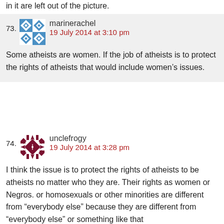in it are left out of the picture.
73. marinerachel
19 July 2014 at 3:10 pm
Some atheists are women. If the job of atheists is to protect the rights of atheists that would include women’s issues.
74. unclefrogy
19 July 2014 at 3:28 pm
I think the issue is to protect the rights of atheists to be atheists no matter who they are. Their rights as women or Negros. or homosexuals or other minorities are different from “everybody else” because they are different from “everybody else” or something like that